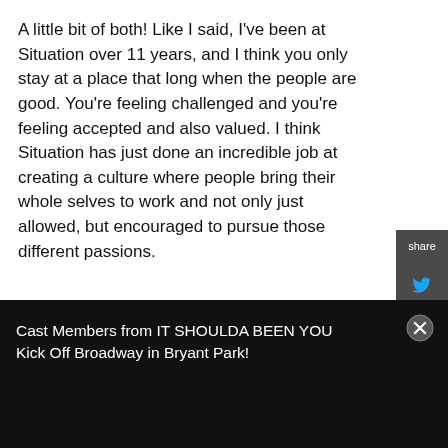A little bit of both! Like I said, I've been at Situation over 11 years, and I think you only stay at a place that long when the people are good. You're feeling challenged and you're feeling accepted and also valued. I think Situation has just done an incredible job at creating a culture where people bring their whole selves to work and not only just allowed, but encouraged to pursue those different passions.
RELATED STORIES
[Figure (photo): Two thumbnail images for related stories, partially visible]
Cast Members from IT SHOULDA BEEN YOU Kick Off Broadway in Bryant Park!